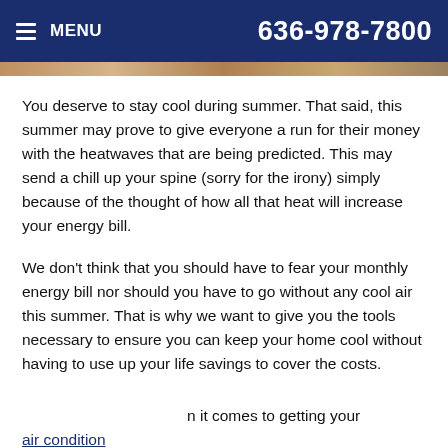MENU  636-978-7800
[Figure (photo): Hero image strip — tan/brown textured surface]
You deserve to stay cool during summer. That said, this summer may prove to give everyone a run for their money with the heatwaves that are being predicted. This may send a chill up your spine (sorry for the irony) simply because of the thought of how all that heat will increase your energy bill.
We don't think that you should have to fear your monthly energy bill nor should you have to go without any cool air this summer. That is why we want to give you the tools necessary to ensure you can keep your home cool without having to use up your life savings to cover the costs.
When it comes to getting your air conditioning system in O'Fallon, MO to work efficiently, you can rely on us to help.